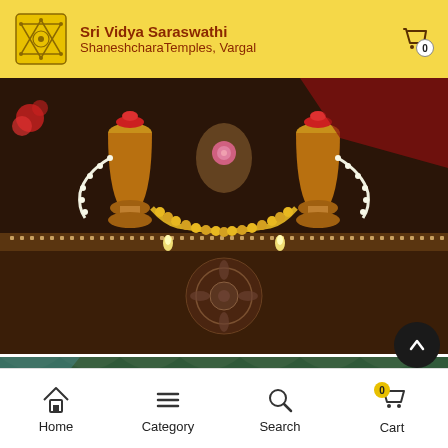Sri Vidya Saraswathi ShaneshcharaTemples, Vargal
[Figure (photo): Close-up photograph of ornate temple deity idols decorated with garlands of marigolds, jasmine flowers, and lit oil lamps. Two large brass kalashas (pots) flank a central deity. Intricate silver metalwork with floral patterns is visible on the altar front.]
[Figure (photo): Partial view of a second temple image showing red and green floral offerings/decorations at the bottom of the frame.]
Home  Category  Search  Cart